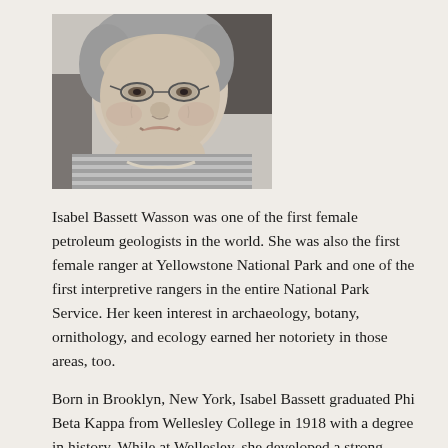[Figure (photo): Black and white photograph of an elderly woman with short curly gray hair and glasses, smiling warmly at the camera. She appears to be wearing a striped or patterned shirt.]
Isabel Bassett Wasson was one of the first female petroleum geologists in the world.  She was also the first female ranger at Yellowstone National Park and one of the first interpretive rangers in the entire National Park Service.  Her keen interest in archaeology, botany, ornithology, and ecology earned her notoriety in those areas, too.
Born in Brooklyn, New York, Isabel Bassett graduated Phi Beta Kappa from Wellesley College in 1918 with a degree in history.  While at Wellesley, she developed a strong interest in geology and began taking courses at MIT.  She taught